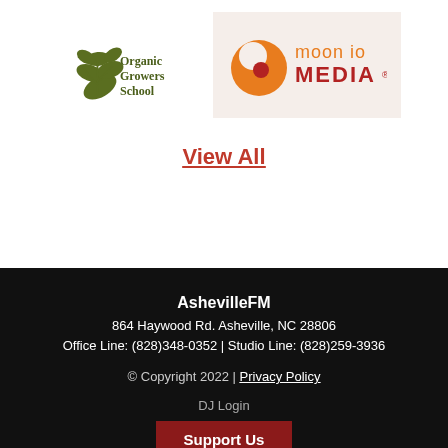[Figure (logo): Organic Growers School logo with plant illustration and olive green text]
[Figure (logo): Moon IO Media logo with orange circular icon and orange/red text on light background]
View All
AshevilleFM
864 Haywood Rd. Asheville, NC 28806
Office Line: (828)348-0352 | Studio Line: (828)259-3936
© Copyright 2022 | Privacy Policy
DJ Login
Support Us